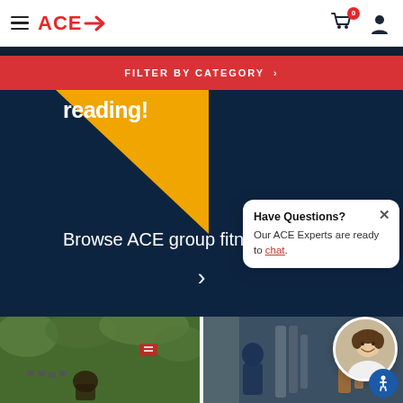ACE → navigation bar with hamburger menu, cart icon (badge: 0), and user icon
FILTER BY CATEGORY >
reading!
Browse ACE group fitness courses
Have Questions? Our ACE Experts are ready to chat.
[Figure (photo): Two gym/fitness photos side by side at the bottom of the page showing people working out with gym equipment]
[Figure (photo): Chat support avatar showing a smiling man in white shirt]